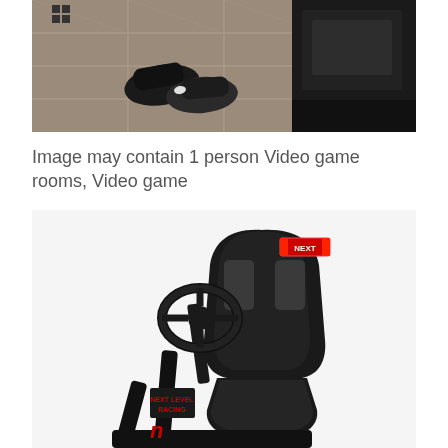[Figure (photo): Overhead view of a racing simulator cockpit area with tiled floor, a pair of black racing shoes/gloves on the floor, and a large black racing simulator rig visible from above.]
Image may contain 1 person Video game rooms, Video game
[Figure (photo): A black racing simulator cockpit/chair with a racing wheel mounted on a frame, bucket seat with red logo badge, set against a white background.]